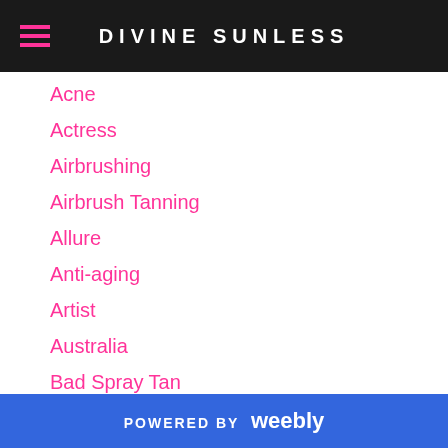DIVINE SUNLESS
Acne
Actress
Airbrushing
Airbrush Tanning
Allure
Anti-aging
Artist
Australia
Bad Spray Tan
Barbie Organge
Bath
Beauty Tips
Belltown
Best Spray Tan
Blackheads
POWERED BY weebly